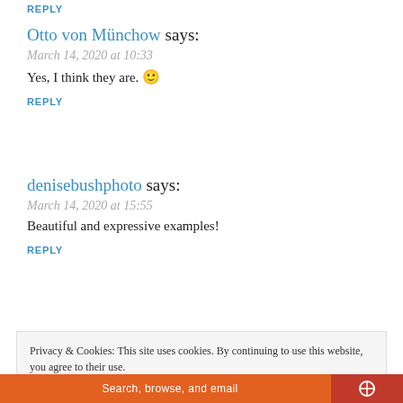REPLY
Otto von Münchow says:
March 14, 2020 at 10:33
Yes, I think they are. 🙂
REPLY
denisebushphoto says:
March 14, 2020 at 15:55
Beautiful and expressive examples!
REPLY
Privacy & Cookies: This site uses cookies. By continuing to use this website, you agree to their use.
To find out more, including how to control cookies, see here:
Cookie Policy
Close and accept